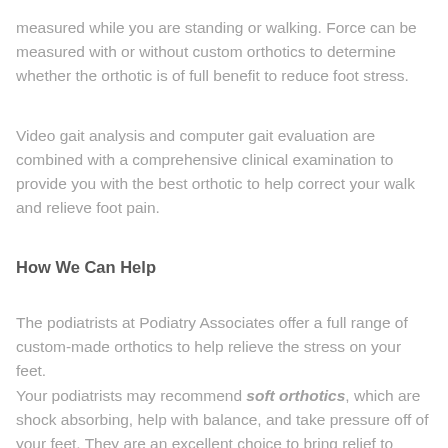measured while you are standing or walking. Force can be measured with or without custom orthotics to determine whether the orthotic is of full benefit to reduce foot stress.
Video gait analysis and computer gait evaluation are combined with a comprehensive clinical examination to provide you with the best orthotic to help correct your walk and relieve foot pain.
How We Can Help
The podiatrists at Podiatry Associates offer a full range of custom-made orthotics to help relieve the stress on your feet.
Your podiatrists may recommend soft orthotics, which are shock absorbing, help with balance, and take pressure off of your feet. They are an excellent choice to bring relief to arthritic or diabetic feet.